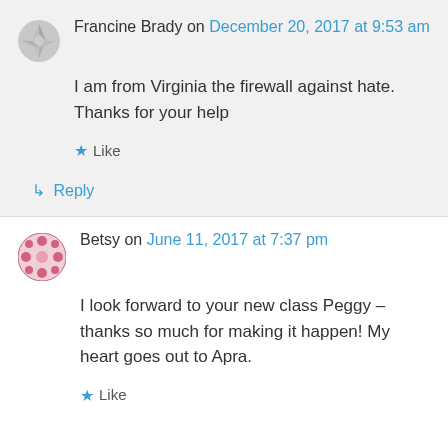Francine Brady on December 20, 2017 at 9:53 am
I am from Virginia the firewall against hate. Thanks for your help
Like
Reply
Betsy on June 11, 2017 at 7:37 pm
I look forward to your new class Peggy – thanks so much for making it happen! My heart goes out to Apra.
Like